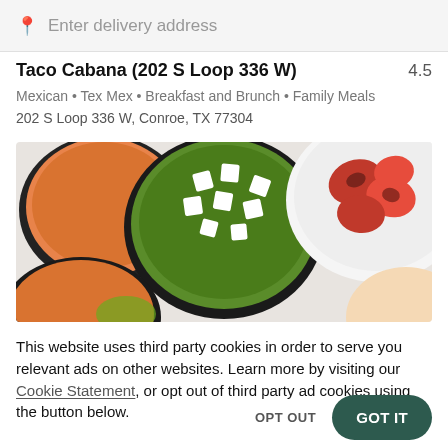Enter delivery address
Taco Cabana (202 S Loop 336 W)  4.5
Mexican • Tex Mex • Breakfast and Brunch • Family Meals
202 S Loop 336 W, Conroe, TX 77304
[Figure (photo): Top-down view of bowls of food including a green palak paneer dish with white cheese cubes in the center, orange curry on the left, and grilled tandoori chicken on the right]
This website uses third party cookies in order to serve you relevant ads on other websites. Learn more by visiting our Cookie Statement, or opt out of third party ad cookies using the button below.